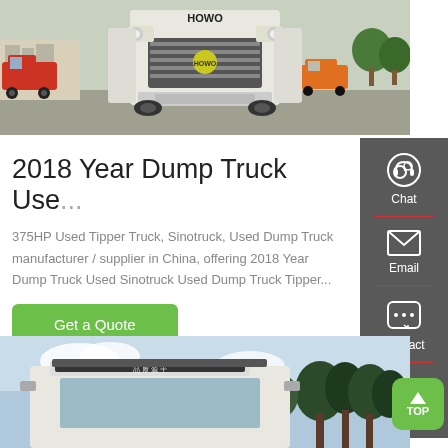[Figure (photo): Front view of a white HOWO dump truck in a parking lot with other vehicles and buildings in background]
2018 Year Dump Truck Use...
375HP Used Tipper Truck, Sinotruck, Used Dump Truck manufacturer / supplier in China, offering 2018 Year Dump Truck Used Sinotruck Used Dump Truck Tipper...
Get a Quote
[Figure (photo): Side view of a white dump truck with trees and sky in background]
[Figure (infographic): Right sidebar with Chat, Email, and Contact icons on dark grey background]
TOP